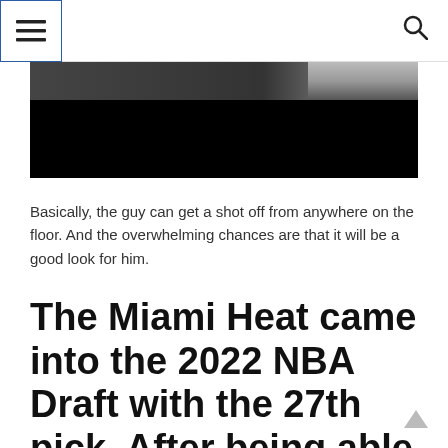Menu and Search navigation header
[Figure (photo): Partially visible photo of a basketball player, mostly dark/black background with a small portion of a figure visible at the top right]
Basically, the guy can get a shot off from anywhere on the floor. And the overwhelming chances are that it will be a good look for him.
The Miami Heat came into the 2022 NBA Draft with the 27th pick. After being able to land Nikola Jovic